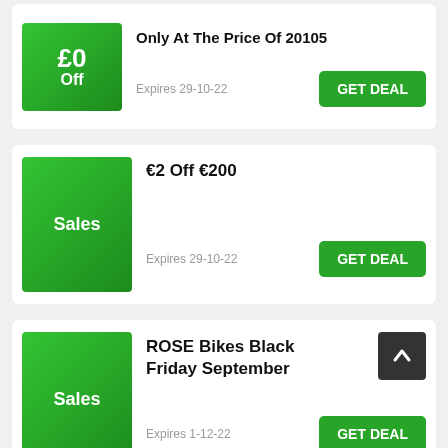[Figure (screenshot): Green discount box showing £0 Off]
Only At The Price Of 20105
Expires 29-10-22
GET DEAL
[Figure (screenshot): Green Sales badge box]
€2 Off €200
Expires 29-10-22
GET DEAL
[Figure (screenshot): Green Sales badge box]
ROSE Bikes Black Friday September
Expires 1-12-22
GET DEAL